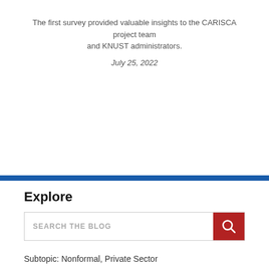The first survey provided valuable insights to the CARISCA project team and KNUST administrators.
July 25, 2022
Explore
SEARCH THE BLOG
Subtopic: Nonformal, Private Sector
Clear All
Nonformal ×